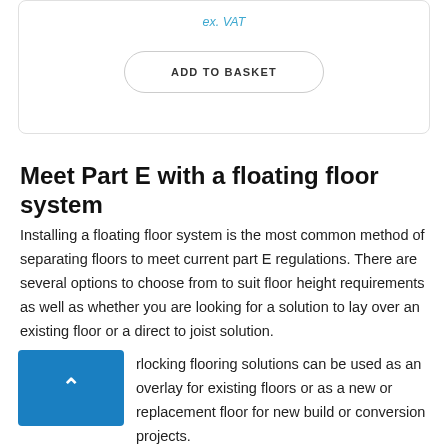ex. VAT
ADD TO BASKET
Meet Part E with a floating floor system
Installing a floating floor system is the most common method of separating floors to meet current part E regulations. There are several options to choose from to suit floor height requirements as well as whether you are looking for a solution to lay over an existing floor or a direct to joist solution.
…rlocking flooring solutions can be used as an overlay for existing floors or as a new or replacement floor for new build or conversion projects.